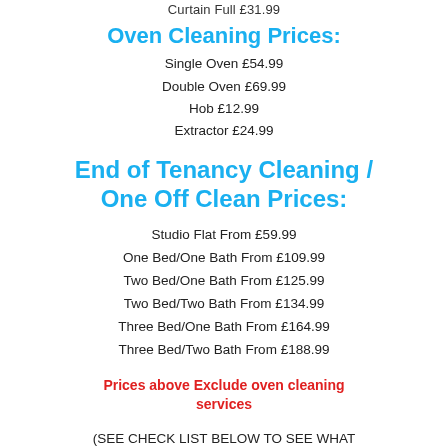Curtain Full £31.99
Oven Cleaning Prices:
Single Oven £54.99
Double Oven £69.99
Hob £12.99
Extractor £24.99
End of Tenancy Cleaning / One Off Clean Prices:
Studio Flat From £59.99
One Bed/One Bath From £109.99
Two Bed/One Bath From £125.99
Two Bed/Two Bath From £134.99
Three Bed/One Bath From £164.99
Three Bed/Two Bath From £188.99
Prices above Exclude oven cleaning services
(SEE CHECK LIST BELOW TO SEE WHAT IS INCLUDED)